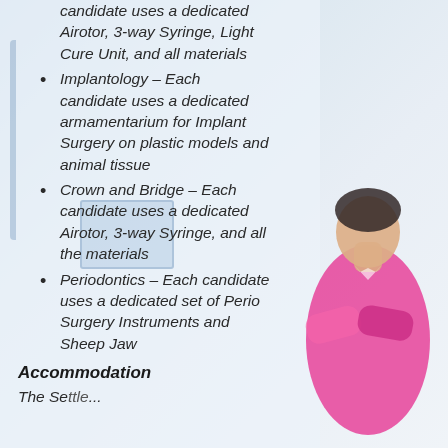candidate uses a dedicated Airotor, 3-way Syringe, Light Cure Unit, and all materials
Implantology – Each candidate uses a dedicated armamentarium for Implant Surgery on plastic models and animal tissue
Crown and Bridge – Each candidate uses a dedicated Airotor, 3-way Syringe,  and all the materials
Periodontics – Each candidate uses a dedicated set of Perio Surgery Instruments  and Sheep Jaw
Accommodation
The Settee...